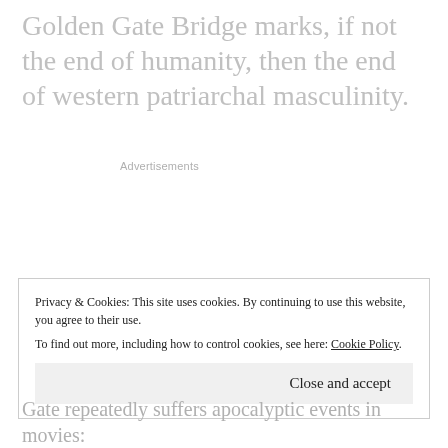Golden Gate Bridge marks, if not the end of humanity, then the end of western patriarchal masculinity.
Advertisements
Privacy & Cookies: This site uses cookies. By continuing to use this website, you agree to their use.
To find out more, including how to control cookies, see here: Cookie Policy
Close and accept
Gate repeatedly suffers apocalyptic events in movies: